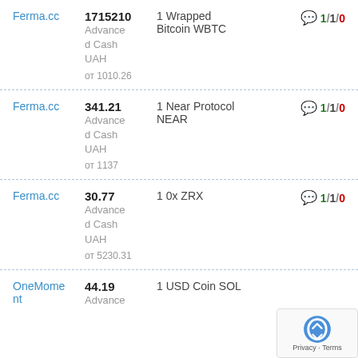Ferma.cc | 1715210 Advanced Cash UAH от 1010.26 | 1 Wrapped Bitcoin WBTC | 1/1/0
Ferma.cc | 341.21 Advanced Cash UAH от 1137 | 1 Near Protocol NEAR | 1/1/0
Ferma.cc | 30.77 Advanced Cash UAH от 5230.31 | 1 0x ZRX | 1/1/0
OneMoment | 44.19 Advance | 1 USD Coin SOL | (partial)